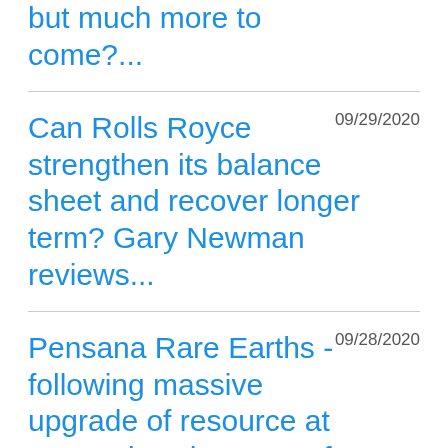but much more to come?...
09/29/2020
Can Rolls Royce strengthen its balance sheet and recover longer term? Gary Newman reviews...
09/28/2020
Pensana Rare Earths - following massive upgrade of resource at Longonjo, where next for the shares?